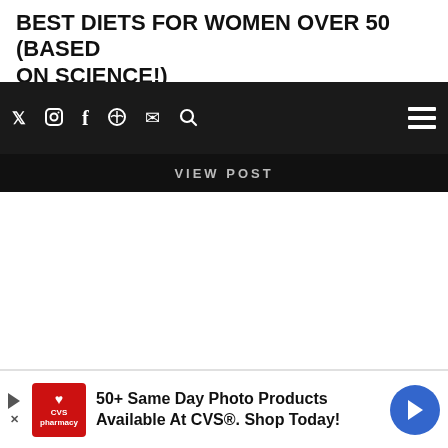BEST DIETS FOR WOMEN OVER 50 (BASED ON SCIENCE!)
Navigation bar with social icons: Twitter, Instagram, Facebook, Pinterest, Mail, Search, and hamburger menu
VIEW POST
[Figure (screenshot): White empty content area]
[Figure (infographic): CVS Pharmacy advertisement banner: '50+ Same Day Photo Products Available At CVS®. Shop Today!']